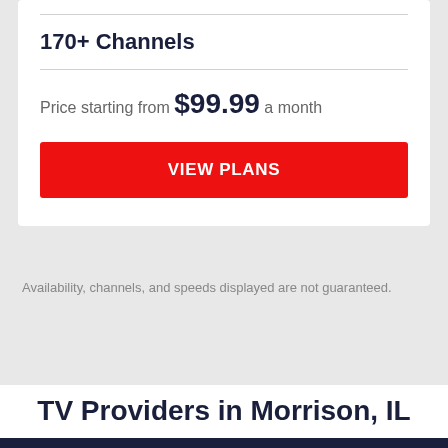170+ Channels
Price starting from $99.99 a month
VIEW PLANS
Availability, channels, and speeds displayed are not guaranteed.
TV Providers in Morrison, IL
SWIPE LEFT TO SEE ALL →